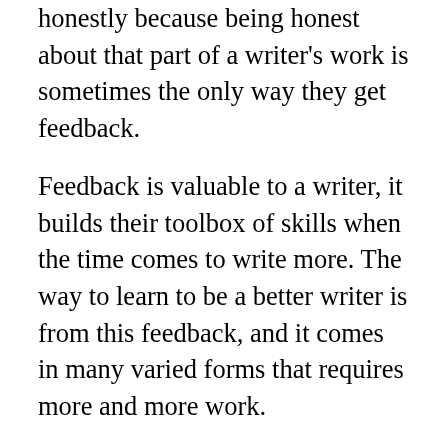honestly because being honest about that part of a writer's work is sometimes the only way they get feedback.
Feedback is valuable to a writer, it builds their toolbox of skills when the time comes to write more. The way to learn to be a better writer is from this feedback, and it comes in many varied forms that requires more and more work.
With work like beta reading, you spend the time reading as a reader, but intuitively aware you're there to ensure it is smooth. To not change much at all, maybe point out the odd typo, or that a character has something they